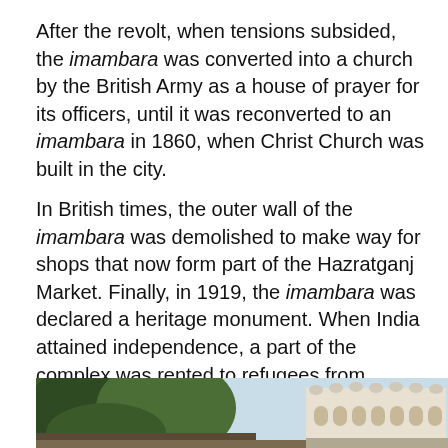After the revolt, when tensions subsided, the imambara was converted into a church by the British Army as a house of prayer for its officers, until it was reconverted to an imambara in 1860, when Christ Church was built in the city.
In British times, the outer wall of the imambara was demolished to make way for shops that now form part of the Hazratganj Market. Finally, in 1919, the imambara was declared a heritage monument. When India attained independence, a part of the complex was rented to refugees from Pakistan.
[Figure (photo): Outdoor photograph showing a large tree with dense green foliage on the left side, and a white historic building with arches and domes (imambara) visible in the background on the right, under a light blue sky.]